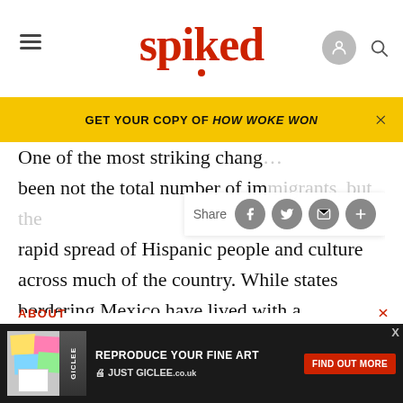spiked
GET YOUR COPY OF HOW WOKE WON
One of the most striking changes has been not the total number of immigrants, but the rapid spread of Hispanic people and culture across much of the country. While states bordering Mexico have lived with a significant Hispanic population for some time, their migration to more distant states has taken off in the past decade. This is partially a product of tighter border controls with Mexico. As a result, many immigrants who used to prefer to go home periodically are now finding this harder to do.
ABOUT
[Figure (screenshot): Advertisement banner: REPRODUCE YOUR FINE ART — JUST GICLEE.co.uk — FIND OUT MORE button]